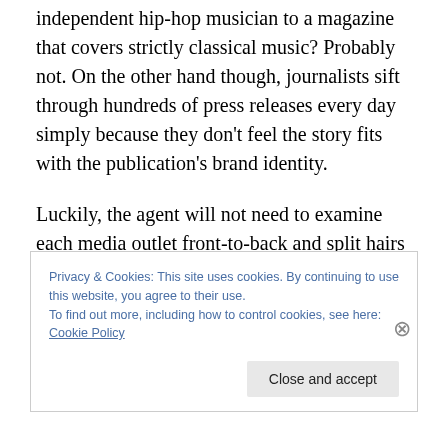independent hip-hop musician to a magazine that covers strictly classical music? Probably not. On the other hand though, journalists sift through hundreds of press releases every day simply because they don't feel the story fits with the publication's brand identity.

Luckily, the agent will not need to examine each media outlet front-to-back and split hairs in order to decide whether or not to pitch the artist to this publication. Instead, they must judge whether the writer really thinks about music based on previous articles they have written.
Privacy & Cookies: This site uses cookies. By continuing to use this website, you agree to their use.
To find out more, including how to control cookies, see here: Cookie Policy